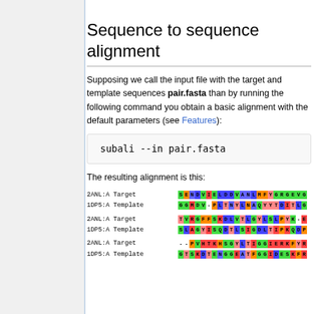Sequence to sequence alignment
Supposing we call the input file with the target and template sequences pair.fasta than by running the following command you obtain a basic alignment with the default parameters (see Features):
The resulting alignment is this:
[Figure (other): Colored sequence alignment showing 2ANL:A Target and 1DP5:A Template rows with amino acid residues colored by type across three alignment blocks]